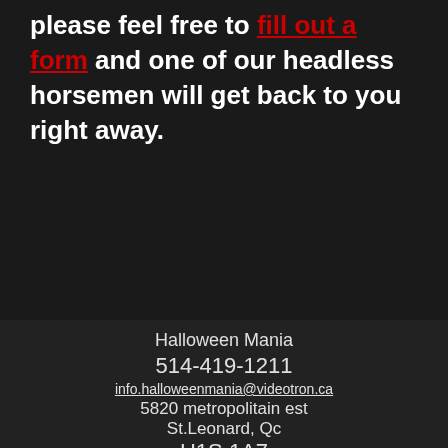please feel free to fill out a form and one of our headless horsemen will get back to you right away.
Halloween Mania
514-419-1211
info.halloweenmania@videotron.ca
5820 metropolitain est
St.Leonard, Qc
H1S 1A7
Heures D'ouverture
Lun: 10h a 18h
Mar: 10h a 18h
Mer: 10h a 18h
Jeu: 10h a 21h
Ven: 10h a 21h